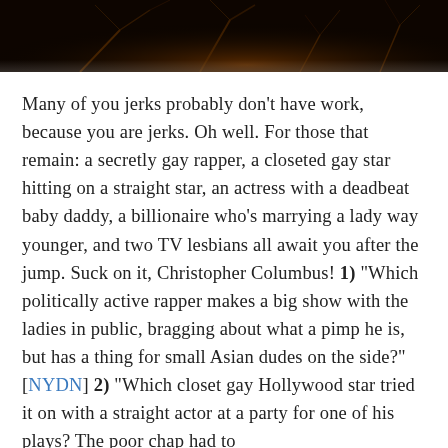[Figure (photo): Dark background photograph showing bare branches or twigs against a black/dark brown background]
Many of you jerks probably don't have work, because you are jerks. Oh well. For those that remain: a secretly gay rapper, a closeted gay star hitting on a straight star, an actress with a deadbeat baby daddy, a billionaire who's marrying a lady way younger, and two TV lesbians all await you after the jump. Suck on it, Christopher Columbus! 1) "Which politically active rapper makes a big show with the ladies in public, bragging about what a pimp he is, but has a thing for small Asian dudes on the side?" [NYDN] 2) "Which closet gay Hollywood star tried it on with a straight actor at a party for one of his plays? The poor chap had to